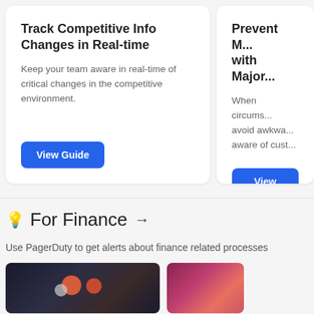Track Competitive Info Changes in Real-time
Keep your team aware in real-time of critical changes in the competitive environment.
View Guide
Prevent M... with Major...
When circums... avoid awkwa... aware of cust...
View Guide
💡 For Finance →
Use PagerDuty to get alerts about finance related processes
[Figure (photo): Dark background image with blurred red and white bokeh circles, likely a laptop/screen in dark environment]
[Figure (photo): Image showing red/pink colored background with what appears to be a laptop keyboard]